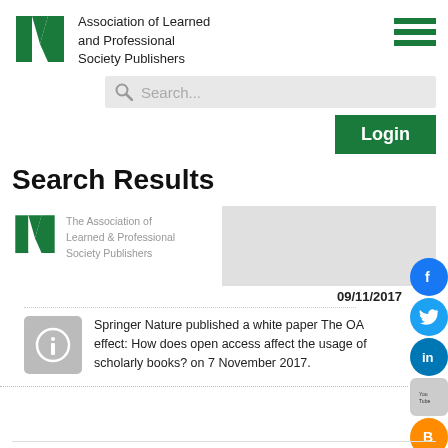[Figure (logo): ALPSP logo - green angular letter A with N shape]
Association of Learned and Professional Society Publishers
[Figure (other): Hamburger menu icon - three green horizontal bars]
[Figure (other): Search bar with magnifying glass icon and placeholder text 'Search...']
[Figure (other): Green Login button]
Search Results
[Figure (logo): ALPSP smaller logo with text: The Association of Learned & Professional Society Publishers]
09/11/2017
The OA Effect: new report
Springer Nature published a white paper The OA effect: How does open access affect the usage of scholarly books? on 7 November 2017.
[Figure (other): Social media icons: Facebook, Twitter, LinkedIn, YouTube, Blogger]